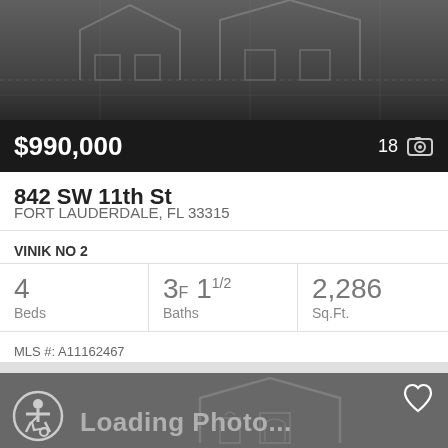[Figure (screenshot): Property photo area with house outline watermark on dark gradient background]
$990,000
18 📷
842 SW 11th St
FORT LAUDERDALE, FL 33315
VINIK NO 2
4 Beds
3F 11/2 Baths
2,286 Sq.Ft.
MLS #: A11162467
[Figure (screenshot): Second listing card with dark gray background, heart icon, accessibility icon, house watermark, and 'Loading Photo...' text]